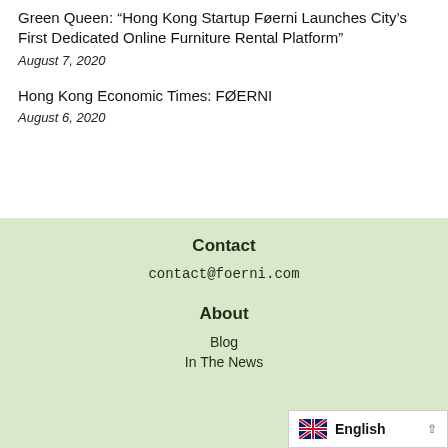Green Queen: “Hong Kong Startup Føerni Launches City’s First Dedicated Online Furniture Rental Platform”
August 7, 2020
Hong Kong Economic Times: FØERNI
August 6, 2020
Contact
contact@foerni.com
About
Blog
In The News
English